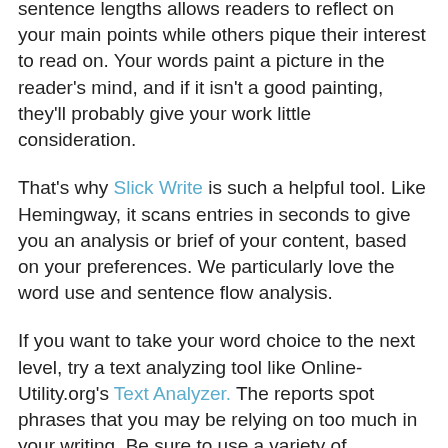sentence lengths allows readers to reflect on your main points while others pique their interest to read on. Your words paint a picture in the reader's mind, and if it isn't a good painting, they'll probably give your work little consideration.
That's why Slick Write is such a helpful tool. Like Hemingway, it scans entries in seconds to give you an analysis or brief of your content, based on your preferences. We particularly love the word use and sentence flow analysis.
If you want to take your word choice to the next level, try a text analyzing tool like Online-Utility.org's Text Analyzer. The reports spot phrases that you may be relying on too much in your writing. Be sure to use a variety of formats...